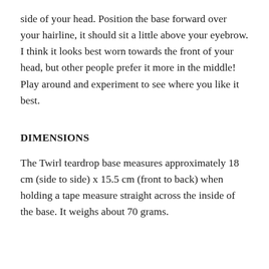side of your head. Position the base forward over your hairline, it should sit a little above your eyebrow. I think it looks best worn towards the front of your head, but other people prefer it more in the middle! Play around and experiment to see where you like it best.
DIMENSIONS
The Twirl teardrop base measures approximately 18 cm (side to side) x 15.5 cm (front to back) when holding a tape measure straight across the inside of the base. It weighs about 70 grams.